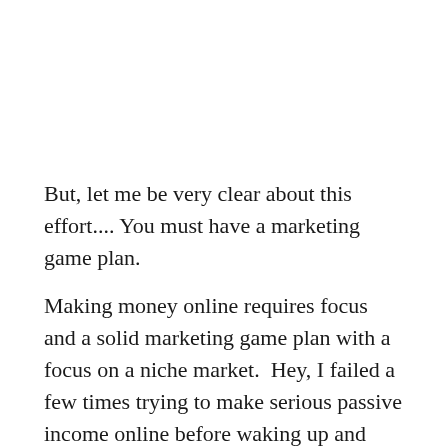But, let me be very clear about this effort.... You must have a marketing game plan.
Making money online requires focus and a solid marketing game plan with a focus on a niche market.  Hey, I failed a few times trying to make serious passive income online before waking up and “Smelling the marketing coffee.”